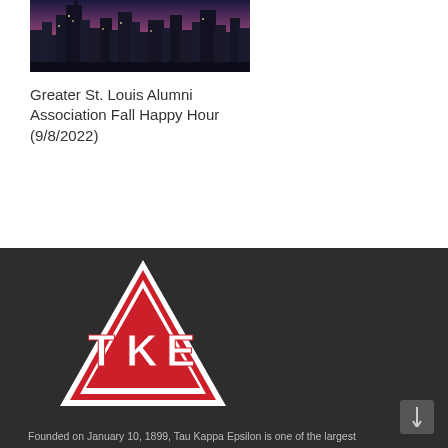[Figure (photo): City skyline at dusk/sunset with tall buildings and colorful sky]
Greater St. Louis Alumni Association Fall Happy Hour (9/8/2022)
[Figure (logo): TKE (Tau Kappa Epsilon) fraternity logo — red inverted triangle with white block letters TKE]
Founded on January 10, 1899, Tau Kappa Epsilon is one of the largest